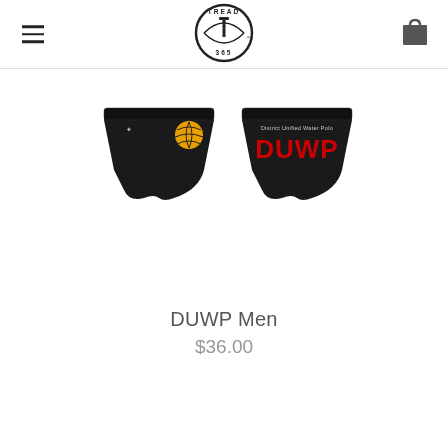[Figure (logo): Tread 365 circular logo with T symbol in center, text TREAD around top and 365 around bottom]
[Figure (photo): Two black water polo briefs side by side. Left brief has a gold water polo ball logo. Right brief reads 'District Unified Water Polo DUWP' in red text on black background.]
DUWP Men
$36.00